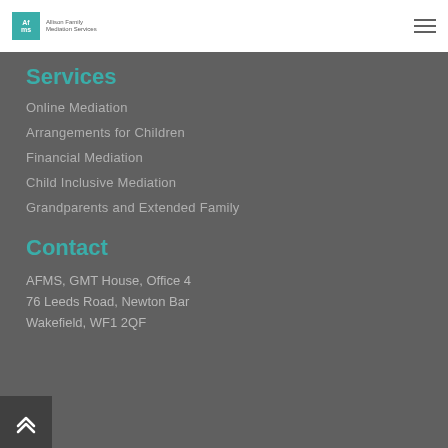Allison Family Mediation Services [logo]
Services
Online Mediation
Arrangements for Children
Financial Mediation
Child Inclusive Mediation
Grandparents and Extended Family
Contact
AFMS, GMT House, Office 4
76 Leeds Road, Newton Bar
Wakefield, WF1 2QF